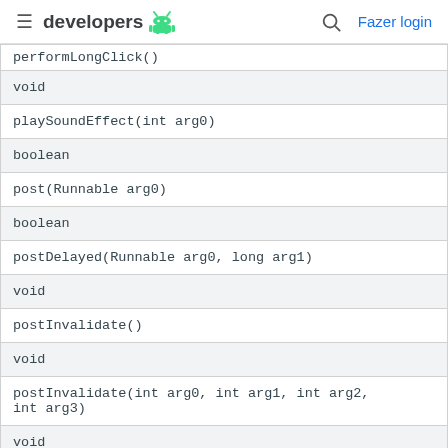developers [android logo] [search] Fazer login
| performLongClick() |
| void |
| playSoundEffect(int arg0) |
| boolean |
| post(Runnable arg0) |
| boolean |
| postDelayed(Runnable arg0, long arg1) |
| void |
| postInvalidate() |
| void |
| postInvalidate(int arg0, int arg1, int arg2, int arg3) |
| void |
| postInvalidateDelayed(long arg0, int arg1, int arg2, int arg3) |